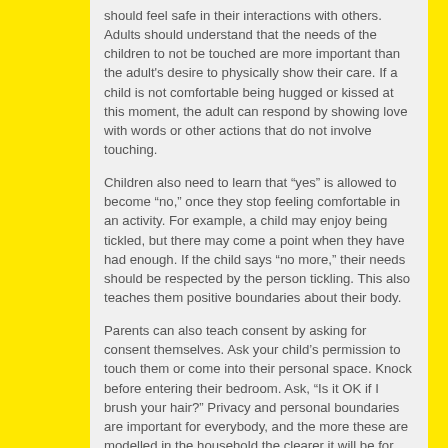should feel safe in their interactions with others. Adults should understand that the needs of the children to not be touched are more important than the adult's desire to physically show their care. If a child is not comfortable being hugged or kissed at this moment, the adult can respond by showing love with words or other actions that do not involve touching.
Children also need to learn that “yes” is allowed to become “no,” once they stop feeling comfortable in an activity. For example, a child may enjoy being tickled, but there may come a point when they have had enough. If the child says “no more,” their needs should be respected by the person tickling. This also teaches them positive boundaries about their body.
Parents can also teach consent by asking for consent themselves. Ask your child’s permission to touch them or come into their personal space. Knock before entering their bedroom. Ask, “Is it OK if I brush your hair?” Privacy and personal boundaries are important for everybody, and the more these are modelled in the household the clearer it will be for your children.
Parents can access resources about consent and other topics on our website at www.serc.mb.ca!